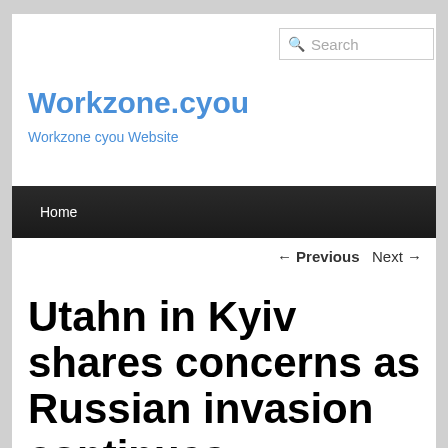Search
Workzone.cyou
Workzone cyou Website
Home
← Previous   Next →
Utahn in Kyiv shares concerns as Russian invasion continues